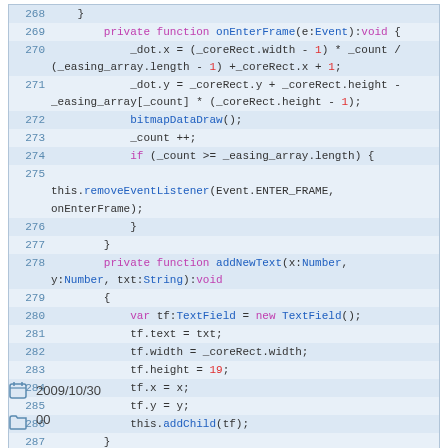[Figure (screenshot): Source code listing in ActionScript, lines 268-288, showing onEnterFrame and addNewText private functions with syntax highlighting on a blue-tinted background.]
2009/10/30
[Figure (other): Folder icon with two small squares (category/tag icons)]